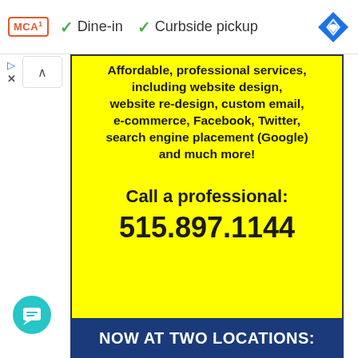[Figure (screenshot): Top UI bar showing MCA badge, Dine-in and Curbside pickup checkmarks, and a blue navigation diamond icon]
[Figure (infographic): Yellow advertisement box with bold black text: 'Affordable, professional services, including website design, website re-design, custom email, e-commerce, Facebook, Twitter, search engine placement (Google) and much more! Call a professional: 515.897.1144']
[Figure (infographic): Dark blue banner at bottom reading 'NOW AT TWO LOCATIONS:']